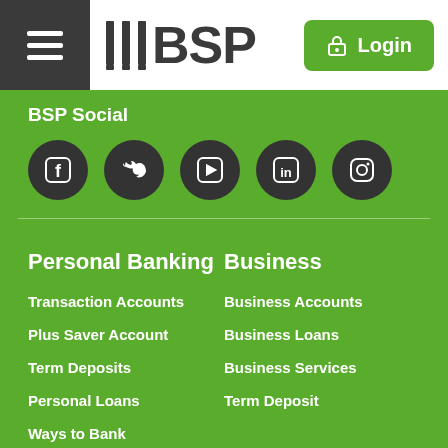[Figure (logo): BSP bank logo with hamburger menu and Login button header]
BSP Social
[Figure (infographic): Social media icons: Facebook, Twitter, YouTube/Play, LinkedIn, Instagram in dark circular buttons]
Personal Banking
Transaction Accounts
Plus Saver Account
Term Deposits
Personal Loans
Ways to Bank
Business
Business Accounts
Business Loans
Business Services
Term Deposit